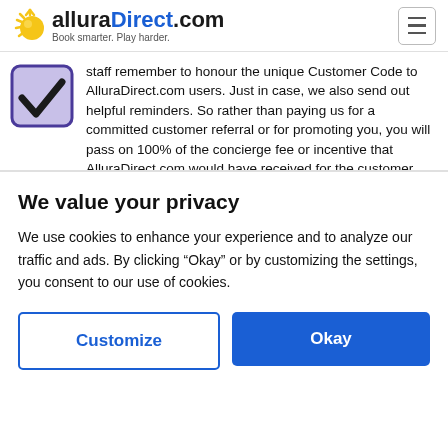alluraDirect.com — Book smarter. Play harder.
staff remember to honour the unique Customer Code to AlluraDirect.com users. Just in case, we also send out helpful reminders. So rather than paying us for a committed customer referral or for promoting you, you will pass on 100% of the concierge fee or incentive that AlluraDirect.com would have received for the customer referral to customers who present the customer code at booking or at your premises.
We value your privacy
We use cookies to enhance your experience and to analyze our traffic and ads. By clicking "Okay" or by customizing the settings, you consent to our use of cookies.